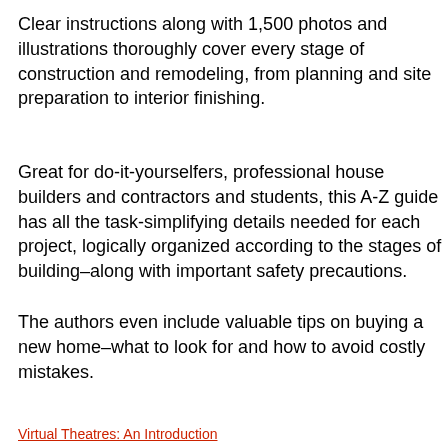Clear instructions along with 1,500 photos and illustrations thoroughly cover every stage of construction and remodeling, from planning and site preparation to interior finishing.
Great for do-it-yourselfers, professional house builders and contractors and students, this A-Z guide has all the task-simplifying details needed for each project, logically organized according to the stages of building–along with important safety precautions.
The authors even include valuable tips on buying a new home–what to look for and how to avoid costly mistakes.
Virtual Theatres: An Introduction